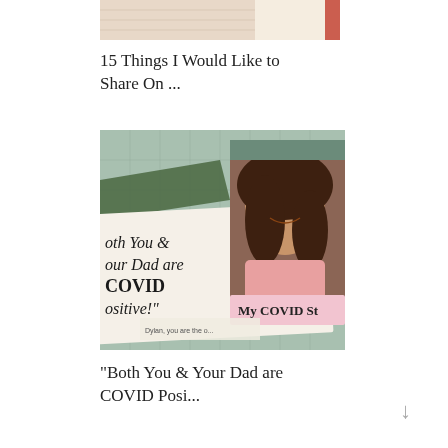[Figure (photo): Partial cropped photo at top, showing a person in a knit/cream sweater, partially cut off.]
15 Things I Would Like to Share On ...
[Figure (photo): Collage image with a sage green tile background, torn paper pieces with text reading 'oth You & our Dad are COVID positive!' and a label 'My COVID St', overlaid with a smiling young woman's photo.]
"Both You & Your Dad are COVID Posi...